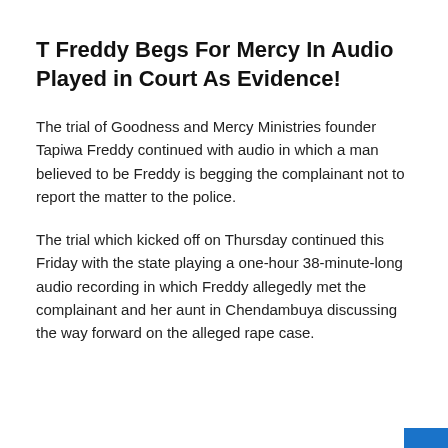T Freddy Begs For Mercy In Audio Played in Court As Evidence!
The trial of Goodness and Mercy Ministries founder Tapiwa Freddy continued with audio in which a man believed to be Freddy is begging the complainant not to report the matter to the police.
The trial which kicked off on Thursday continued this Friday with the state playing a one-hour 38-minute-long audio recording in which Freddy allegedly met the complainant and her aunt in Chendambuya discussing the way forward on the alleged rape case.